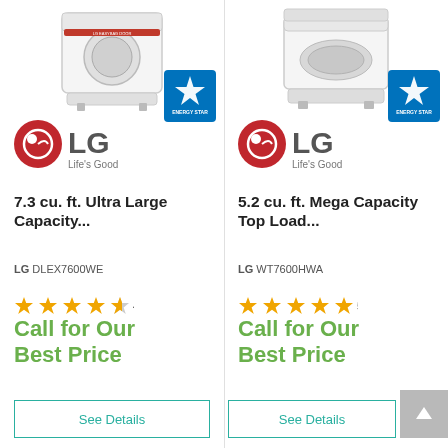[Figure (photo): LG dryer appliance product image, white, top view, with LG EasyBag Door label visible]
[Figure (logo): Energy Star certification logo, blue]
[Figure (logo): LG Life's Good logo]
7.3 cu. ft. Ultra Large Capacity...
LG DLEX7600WE
4.5
Call for Our Best Price
See Details
[Figure (photo): LG top load washer appliance product image, white]
[Figure (logo): Energy Star certification logo, blue]
[Figure (logo): LG Life's Good logo]
5.2 cu. ft. Mega Capacity Top Load...
LG WT7600HWA
5.0
Call for Our Best Price
See Details